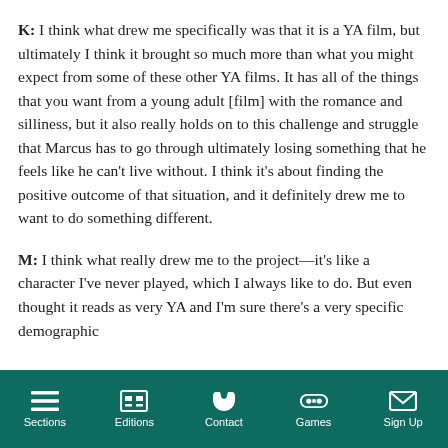K: I think what drew me specifically was that it is a YA film, but ultimately I think it brought so much more than what you might expect from some of these other YA films. It has all of the things that you want from a young adult [film] with the romance and silliness, but it also really holds on to this challenge and struggle that Marcus has to go through ultimately losing something that he feels like he can't live without. I think it's about finding the positive outcome of that situation, and it definitely drew me to want to do something different.
M: I think what really drew me to the project—it's like a character I've never played, which I always like to do. But even thought it reads as very YA and I'm sure there's a very specific demographic
Sections | Editions | Contact | Games | Sign Up